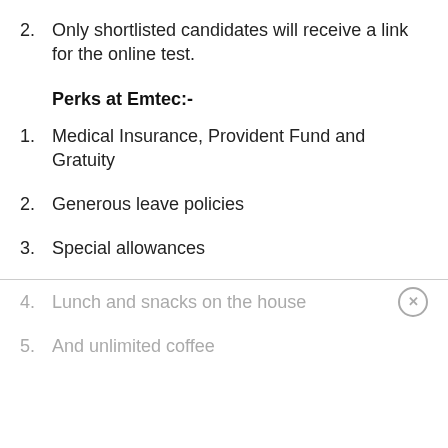2. Only shortlisted candidates will receive a link for the online test.
Perks at Emtec:-
1. Medical Insurance, Provident Fund and Gratuity
2. Generous leave policies
3. Special allowances
4. Lunch and snacks on the house
5. And unlimited coffee